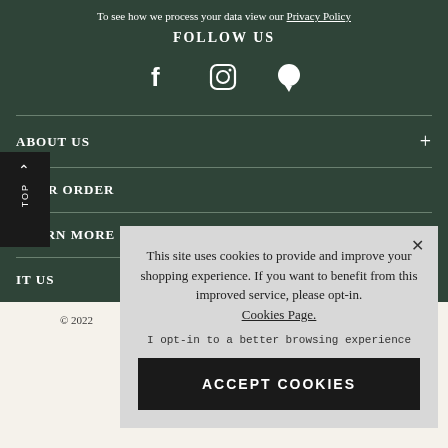To see how we process your data view our Privacy Policy
FOLLOW US
[Figure (illustration): Three social media icons: Facebook (f), Instagram (circle with square), and a speech/chat bubble icon]
ABOUT US
YOUR ORDER
LEARN MORE
IT US
© 2022
This site uses cookies to provide and improve your shopping experience. If you want to benefit from this improved service, please opt-in. Cookies Page.
I opt-in to a better browsing experience
ACCEPT COOKIES